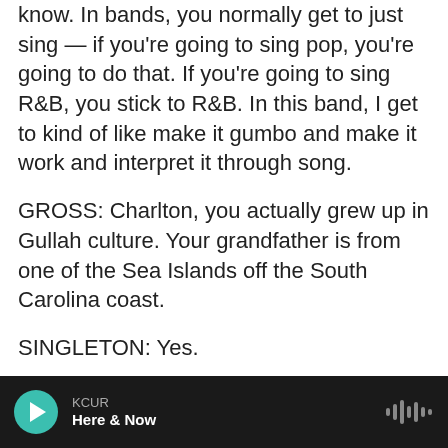know. In bands, you normally get to just sing — if you're going to sing pop, you're going to do that. If you're going to sing R&B, you stick to R&B. In this band, I get to kind of like make it gumbo and make it work and interpret it through song.
GROSS: Charlton, you actually grew up in Gullah culture. Your grandfather is from one of the Sea Islands off the South Carolina coast.
SINGLETON: Yes.
GROSS: There's a song on the album called "Watch That Star" that you have a personal connection to through your grandfather. I'm going to ask you to do that song. But before that, I want to hear the story
KCUR | Here & Now